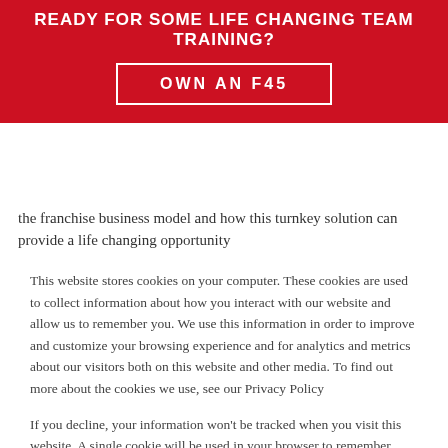READY FOR SOME LIFE CHANGING TEAM TRAINING?
OWN AN F45
the franchise business model and how this turnkey solution can provide a life changing opportunity
This website stores cookies on your computer. These cookies are used to collect information about how you interact with our website and allow us to remember you. We use this information in order to improve and customize your browsing experience and for analytics and metrics about our visitors both on this website and other media. To find out more about the cookies we use, see our Privacy Policy
If you decline, your information won't be tracked when you visit this website. A single cookie will be used in your browser to remember your preference not to be tracked.
Accept
Decline